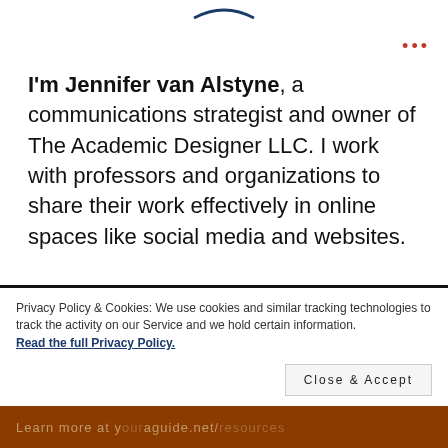[Figure (logo): Partial logo visible at top center of page]
I'm Jennifer van Alstyne, a communications strategist and owner of The Academic Designer LLC. I work with professors and organizations to share their work effectively in online spaces like social media and websites.
Privacy Policy & Cookies: We use cookies and similar tracking technologies to track the activity on our Service and we hold certain information.
Read the full Privacy Policy.
Close & Accept
Learn more at youraguide.net/resources